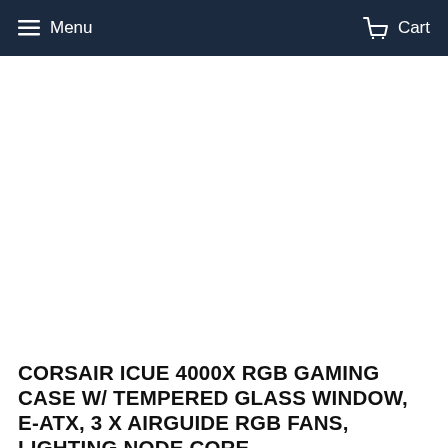Menu  Cart
[Figure (photo): Product image area — white background, product not visible at this crop]
CORSAIR ICUE 4000X RGB GAMING CASE W/ TEMPERED GLASS WINDOW, E-ATX, 3 X AIRGUIDE RGB FANS, LIGHTING NODE CORE